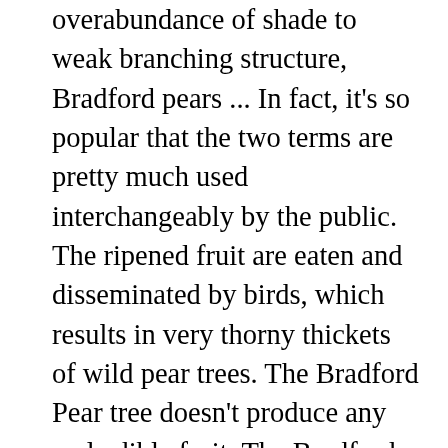overabundance of shade to weak branching structure, Bradford pears ... In fact, it's so popular that the two terms are pretty much used interchangeably by the public. The ripened fruit are eaten and disseminated by birds, which results in very thorny thickets of wild pear trees. The Bradford Pear tree doesn't produce any real edible fruit. The Bradford deciduous pear tree is grown more for its ornamental value than fruit production. While you might appreciate the fall color that they furnish, Bradford pear trees are better known for its massive white flowering displays in spring. A simple, low-maintenance bit of greenery for America's front yard. Callery or Bradford pear, Pyrus